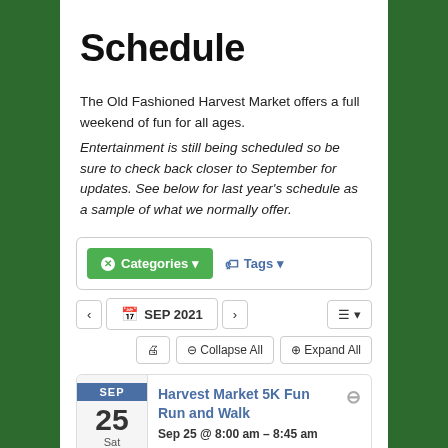Schedule
The Old Fashioned Harvest Market offers a full weekend of fun for all ages. Entertainment is still being scheduled so be sure to check back closer to September for updates. See below for last year's schedule as a sample of what we normally offer.
[Figure (screenshot): Filter bar with green Categories button and blue Tags button inside a rounded rectangle]
[Figure (screenshot): Navigation bar showing SEP 2021 month navigator with back/forward arrows and a list view toggle button on the right]
[Figure (screenshot): Action bar with print, Collapse All, and Expand All buttons]
[Figure (screenshot): Event card for Harvest Market 5K Fun Run and Walk on Sep 25, 2021, Sat, 8:00 am – 8:45 am]